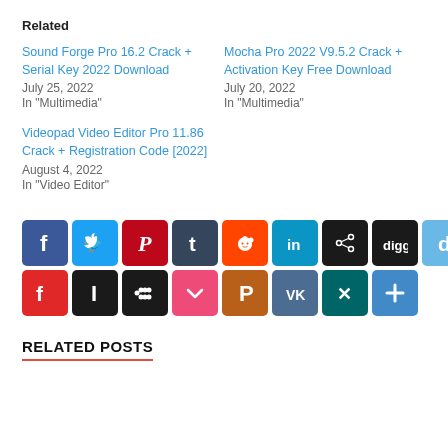Related
Sound Forge Pro 16.2 Crack + Serial Key 2022 Download
July 25, 2022
In "Multimedia"
Mocha Pro 2022 V9.5.2 Crack + Activation Key Free Download
July 20, 2022
In "Multimedia"
Videopad Video Editor Pro 11.86 Crack + Registration Code [2022]
August 4, 2022
In "Video Editor"
[Figure (infographic): Row of social media sharing icons: Facebook (blue), Twitter (light blue), Pinterest (red), Tumblr (dark blue), Reddit (orange), LinkedIn (teal/blue), a share/network icon (dark), Digg (dark), Delicious (light blue), then second row: Flipboard (red), Instapaper (dark), Myspace/dot grid (dark), Pocket (pink), parking/print (brown/orange), VK (steel blue), Xing (teal), plus/more (blue)]
RELATED POSTS